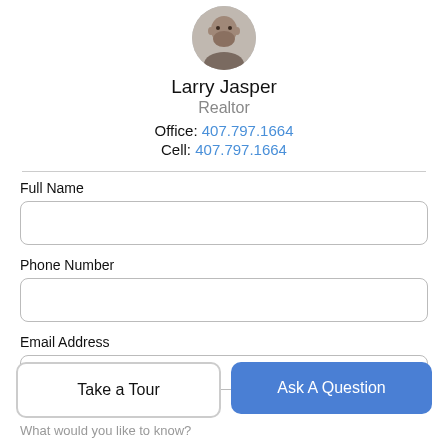[Figure (photo): Circular profile photo of Larry Jasper, a man with beard]
Larry Jasper
Realtor
Office: 407.797.1664
Cell: 407.797.1664
Full Name
Phone Number
Email Address
Take a Tour
Ask A Question
What would you like to know?